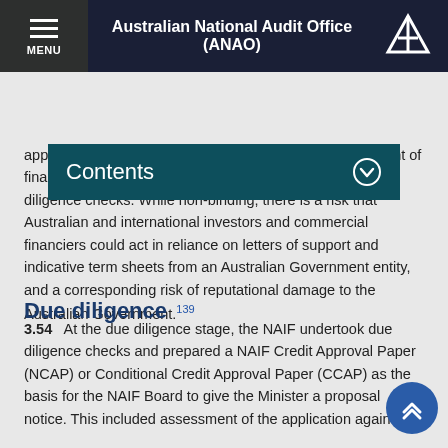Australian National Audit Office (ANAO)
Contents
application was assessed as meeting the criteria for a grant of financial assistance, and before the NAIF completed due diligence checks. While non-binding, there is a risk that Australian and international investors and commercial financiers could act in reliance on letters of support and indicative term sheets from an Australian Government entity, and a corresponding risk of reputational damage to the Australian Government.139
Due diligence
3.54    At the due diligence stage, the NAIF undertook due diligence checks and prepared a NAIF Credit Approval Paper (NCAP) or Conditional Credit Approval Paper (CCAP) as the basis for the NAIF Board to give the Minister a proposal notice. This included assessment of the application against